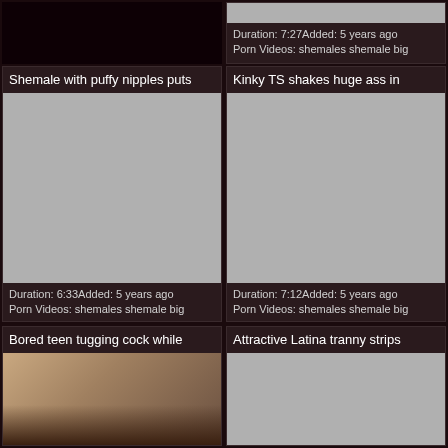[Figure (screenshot): Top partial row: left side dark background, right side shows partial video thumbnail (gray) with duration and metadata text]
Duration: 7:27Added: 5 years ago
Porn Videos: shemales shemale big
Shemale with puffy nipples puts
[Figure (photo): Gray placeholder thumbnail for shemale video]
Duration: 6:33Added: 5 years ago
Porn Videos: shemales shemale big
Kinky TS shakes huge ass in
[Figure (photo): Gray placeholder thumbnail for kinky TS video]
Duration: 7:12Added: 5 years ago
Porn Videos: shemales shemale big
Bored teen tugging cock while
[Figure (photo): Photo thumbnail showing a young woman on a bed]
Attractive Latina tranny strips
[Figure (photo): Gray placeholder thumbnail for Latina tranny video]